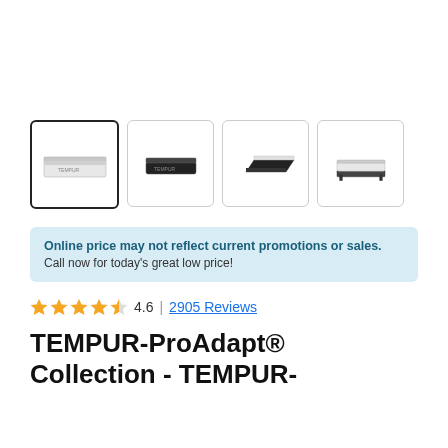[Figure (photo): Four product thumbnail images of a mattress: front view (selected/highlighted), side dark view, angled close-up, and mattress on adjustable base frame]
Online price may not reflect current promotions or sales.
Call now for today's great low price!
4.6 | 2905 Reviews
TEMPUR-ProAdapt® Collection - TEMPUR-